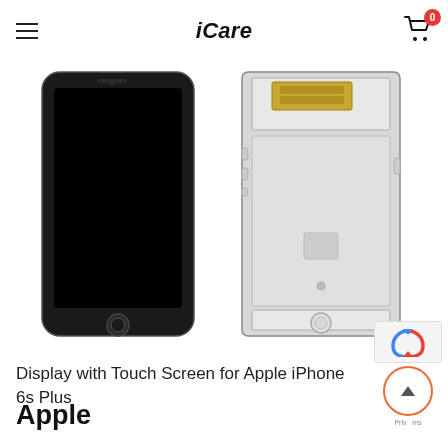iCare
[Figure (photo): Two views of iPhone 6s Plus display assembly with touch screen: front view (black screen with home button) and rear view (showing internal components, connectors, and metal backplate)]
Display with Touch Screen for Apple iPhone 6s Plus
Apple